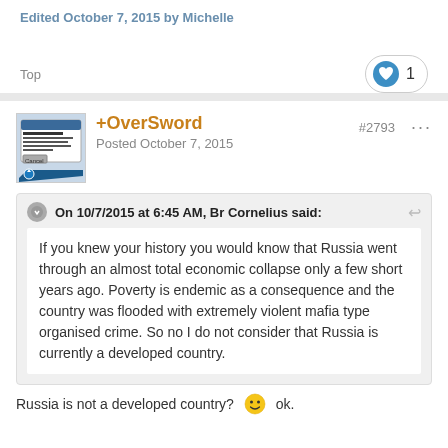Edited October 7, 2015 by Michelle
Top
+OverSword
Posted October 7, 2015
#2793
On 10/7/2015 at 6:45 AM, Br Cornelius said:
If you knew your history you would know that Russia went through an almost total economic collapse only a few short years ago. Poverty is endemic as a consequence and the country was flooded with extremely violent mafia type organised crime. So no I do not consider that Russia is currently a developed country.
Russia is not a developed country? ok.